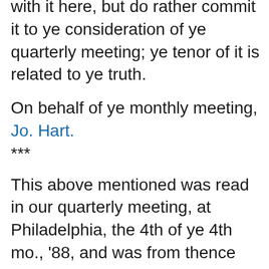with it here, but do rather commit it to ye consideration of ye quarterly meeting; ye tenor of it is related to ye truth.
On behalf of ye monthly meeting,
Jo. Hart.
***
This above mentioned was read in our quarterly meeting, at Philadelphia, the 4th of ye 4th mo., '88, and was from thence recommended to the yearly meeting, and the above said Derick, and the other two mentioned therein, to present the same to ye above said meetings, it is a thing of too great a weight for this meeting to determine.